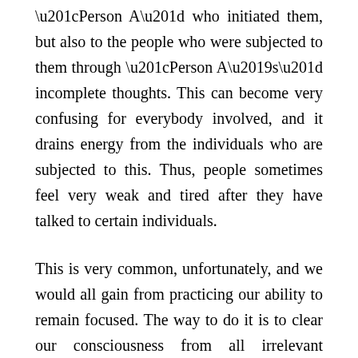“Person A” who initiated them, but also to the people who were subjected to them through “Person A’s” incomplete thoughts. This can become very confusing for everybody involved, and it drains energy from the individuals who are subjected to this. Thus, people sometimes feel very weak and tired after they have talked to certain individuals.
This is very common, unfortunately, and we would all gain from practicing our ability to remain focused. The way to do it is to clear our consciousness from all irrelevant thoughts that are constantly drifting around our minds. Sometimes, it’s just that—thoughts, but other times these thoughts can actually develop into complete voices, with complete sentences. On occasion